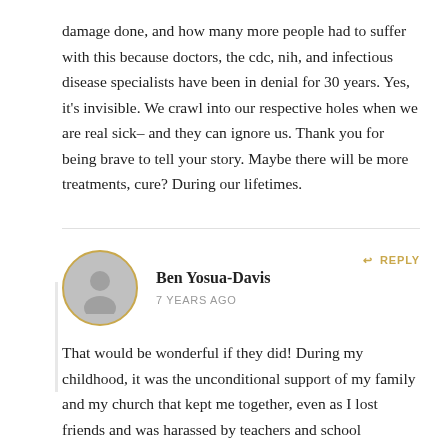damage done, and how many more people had to suffer with this because doctors, the cdc, nih, and infectious disease specialists have been in denial for 30 years. Yes, it's invisible. We crawl into our respective holes when we are real sick– and they can ignore us. Thank you for being brave to tell your story. Maybe there will be more treatments, cure? During our lifetimes.
Ben Yosua-Davis — 7 YEARS AGO — REPLY
That would be wonderful if they did! During my childhood, it was the unconditional support of my family and my church that kept me together, even as I lost friends and was harassed by teachers and school administrators. Community is still important,